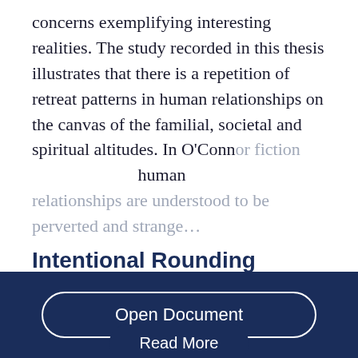concerns exemplifying interesting realities. The study recorded in this thesis illustrates that there is a repetition of retreat patterns in human relationships on the canvas of the familial, societal and spiritual altitudes. In O'Connor fiction human relationships are understood to be perverted and strange…
Intentional Rounding
Open Document